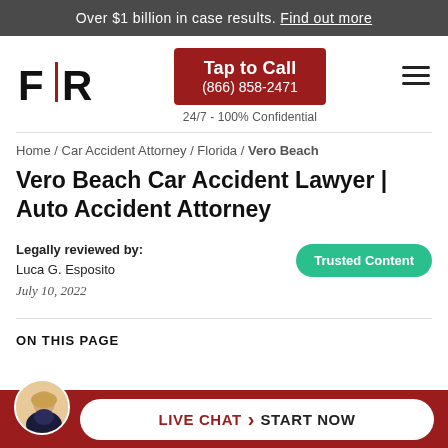Over $1 billion in case results. Find out more
[Figure (logo): F|R law firm logo with red vertical divider between F and R]
[Figure (other): Red Tap to Call button with phone number (866) 858-2471 and 24/7 - 100% Confidential text below]
[Figure (other): Hamburger menu icon (three horizontal lines)]
Home / Car Accident Attorney / Florida / Vero Beach
Vero Beach Car Accident Lawyer | Auto Accident Attorney
Legally reviewed by:
Luca G. Esposito
July 10, 2022
[Figure (other): Trusted Content green badge/pill]
ON THIS PAGE
[Figure (other): Live Chat - Start Now button with attorney avatar photo at bottom of page]